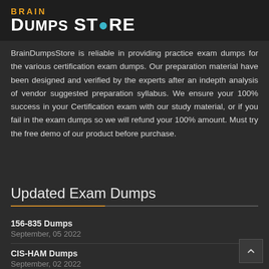[Figure (logo): BrainDumpsStore logo with brain icon, white and orange text on dark background]
BrainDumpsStore is reliable in providing practice exam dumps for the various certification exam dumps. Our preparation material have been designed and verified by the experts after an indepth analysis of vendor suggested preparation syllabus. We ensure your 100% success in your Certification exam with our study material, or if you fail in the exam dumps so we will refund your 100% amount. Must try the free demo of our product before purchase.
Updated Exam Dumps
156-835 Dumps
September, 05 2022
CIS-HAM Dumps
September, 02 2022
NSE6_FWB-6.4 Dumps
September, 02 2022